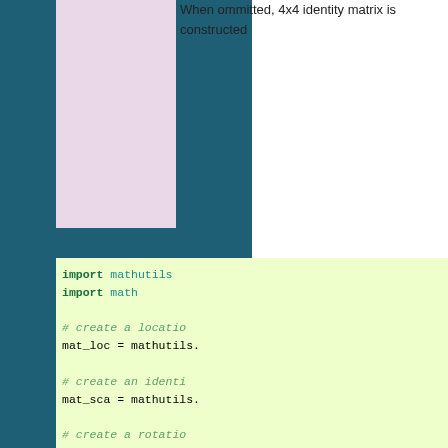[Figure (illustration): Dark teal left panel background, pink/lavender rectangular box on the right side upper portion]
When ommitted, 4x4 identity matrix is constructed
[Figure (screenshot): Code block on light green background showing Python code using mathutils library]